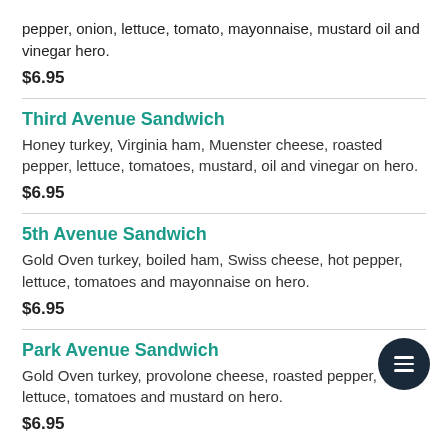pepper, onion, lettuce, tomato, mayonnaise, mustard oil and vinegar hero.
$6.95
Third Avenue Sandwich
Honey turkey, Virginia ham, Muenster cheese, roasted pepper, lettuce, tomatoes, mustard, oil and vinegar on hero.
$6.95
5th Avenue Sandwich
Gold Oven turkey, boiled ham, Swiss cheese, hot pepper, lettuce, tomatoes and mayonnaise on hero.
$6.95
Park Avenue Sandwich
Gold Oven turkey, provolone cheese, roasted pepper, lettuce, tomatoes and mustard on hero.
$6.95